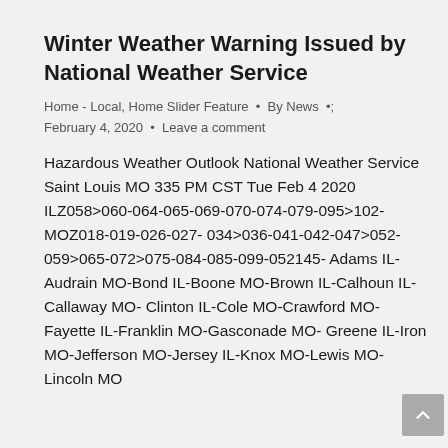Winter Weather Warning Issued by National Weather Service
Home - Local, Home Slider Feature • By News • February 4, 2020 • Leave a comment
Hazardous Weather Outlook National Weather Service Saint Louis MO 335 PM CST Tue Feb 4 2020 ILZ058>060-064-065-069-070-074-079-095>102-MOZ018-019-026-027- 034>036-041-042-047>052-059>065-072>075-084-085-099-052145- Adams IL-Audrain MO-Bond IL-Boone MO-Brown IL-Calhoun IL-Callaway MO- Clinton IL-Cole MO-Crawford MO-Fayette IL-Franklin MO-Gasconade MO- Greene IL-Iron MO-Jefferson MO-Jersey IL-Knox MO-Lewis MO-Lincoln MO